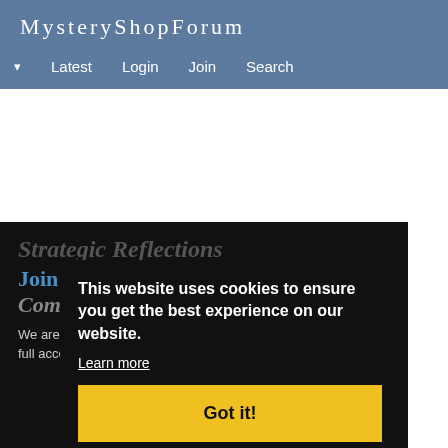MysteryShopForum
Latest  Login  Join  Search
Strategic Reflections
Join The MysteryShopForum Community
We are a community of shoppers helping shoppers. Join to get full access to all the discussions.
This website uses cookies to ensure you get the best experience on our website. Learn more
Got it!